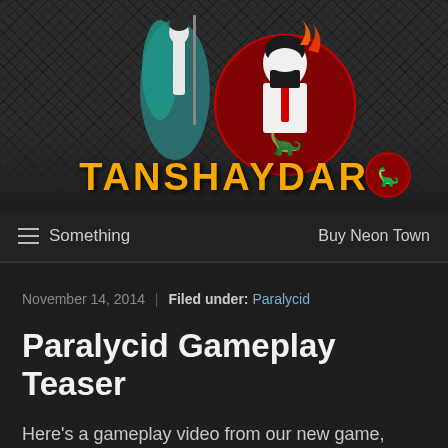[Figure (logo): Tanshaydar website header banner with dark diamond-pattern background, anime character on left, Obama-style silhouette in center, and orange text 'TANSHAYDAR' with a red circular Jurassic Park-style logo icon]
≡  Something    Buy Neon Town
November 14, 2014 | Filed under: Paralycid
Paralycid Gameplay Teaser
Here's a gameplay video from our new game, Paralycid: